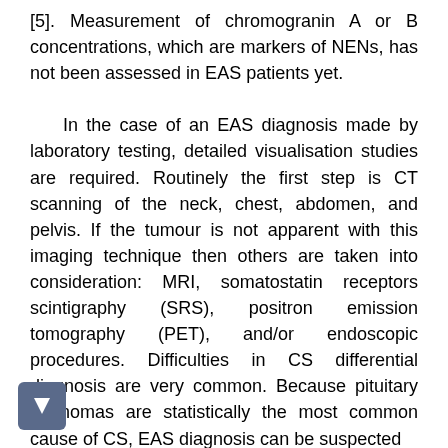[5]. Measurement of chromogranin A or B concentrations, which are markers of NENs, has not been assessed in EAS patients yet.
    In the case of an EAS diagnosis made by laboratory testing, detailed visualisation studies are required. Routinely the first step is CT scanning of the neck, chest, abdomen, and pelvis. If the tumour is not apparent with this imaging technique then others are taken into consideration: MRI, somatostatin receptors scintigraphy (SRS), positron emission tomography (PET), and/or endoscopic procedures. Difficulties in CS differential diagnosis are very common. Because pituitary adenomas are statistically the most common cause of CS, EAS diagnosis can be suspected